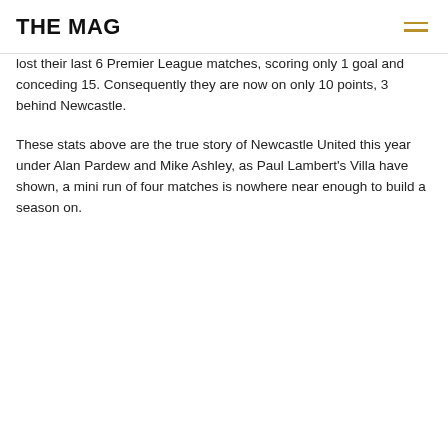THE MAG
lost their last 6 Premier League matches, scoring only 1 goal and conceding 15. Consequently they are now on only 10 points, 3 behind Newcastle.
These stats above are the true story of Newcastle United this year under Alan Pardew and Mike Ashley, as Paul Lambert's Villa have shown, a mini run of four matches is nowhere near enough to build a season on.